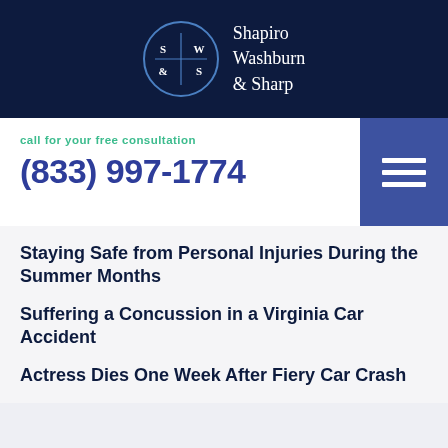[Figure (logo): Shapiro Washburn & Sharp law firm logo with circular emblem and firm name in white text on dark navy background]
call for your free consultation
(833) 997-1774
Staying Safe from Personal Injuries During the Summer Months
Suffering a Concussion in a Virginia Car Accident
Actress Dies One Week After Fiery Car Crash
Categories